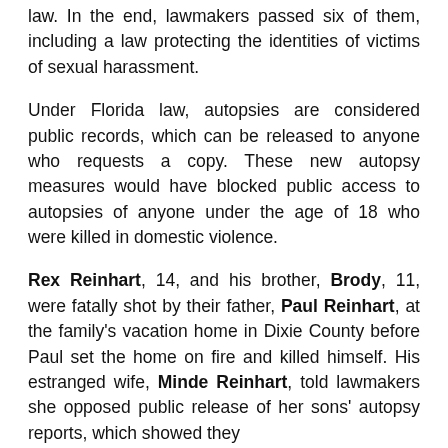law. In the end, lawmakers passed six of them, including a law protecting the identities of victims of sexual harassment.
Under Florida law, autopsies are considered public records, which can be released to anyone who requests a copy. These new autopsy measures would have blocked public access to autopsies of anyone under the age of 18 who were killed in domestic violence.
Rex Reinhart, 14, and his brother, Brody, 11, were fatally shot by their father, Paul Reinhart, at the family's vacation home in Dixie County before Paul set the home on fire and killed himself. His estranged wife, Minde Reinhart, told lawmakers she opposed public release of her sons' autopsy reports, which showed they